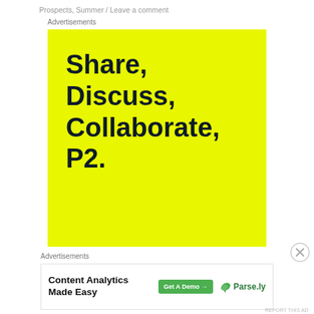Prospects, Summer / Leave a comment
Advertisements
[Figure (illustration): Yellow advertisement banner with bold dark text reading 'Share, Discuss, Collaborate, P2.' on a bright yellow background]
Advertisements
[Figure (infographic): Content Analytics Made Easy advertisement with Get A Demo button and Parse.ly logo]